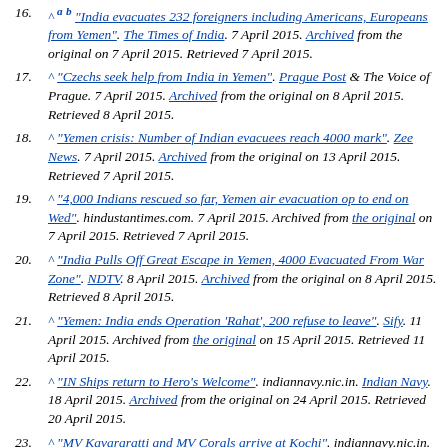16. ^ a b "India evacuates 232 foreigners including Americans, Europeans from Yemen". The Times of India. 7 April 2015. Archived from the original on 7 April 2015. Retrieved 7 April 2015.
17. ^ "Czechs seek help from India in Yemen". Prague Post & The Voice of Prague. 7 April 2015. Archived from the original on 8 April 2015. Retrieved 8 April 2015.
18. ^ "Yemen crisis: Number of Indian evacuees reach 4000 mark". Zee News. 7 April 2015. Archived from the original on 13 April 2015. Retrieved 7 April 2015.
19. ^ "4,000 Indians rescued so far, Yemen air evacuation op to end on Wed". hindustantimes.com. 7 April 2015. Archived from the original on 7 April 2015. Retrieved 7 April 2015.
20. ^ "India Pulls Off Great Escape in Yemen, 4000 Evacuated From War Zone". NDTV. 8 April 2015. Archived from the original on 8 April 2015. Retrieved 8 April 2015.
21. ^ "Yemen: India ends Operation 'Rahat', 200 refuse to leave". Sify. 11 April 2015. Archived from the original on 15 April 2015. Retrieved 11 April 2015.
22. ^ "IN Ships return to Hero's Welcome". indiannavy.nic.in. Indian Navy. 18 April 2015. Archived from the original on 24 April 2015. Retrieved 20 April 2015.
23. ^ "MV Kavararatti and MV Corals arrive at Kochi". indiannavy.nic.in. Indian Navy. 18 April 2015. Archived from the original on 4 March 2016. Retrieved 20 April 2015.